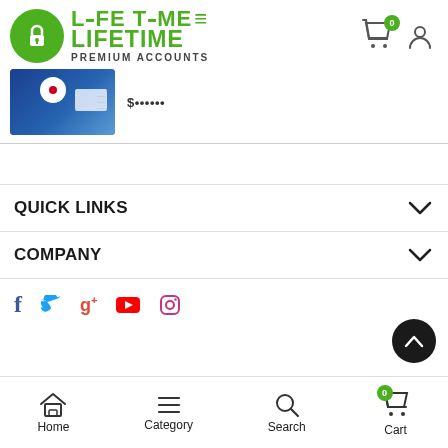[Figure (logo): Lifetime Premium Accounts logo — green circle with padlock icon and green stylized text LIFETIME above PREMIUM ACCOUNTS in dark gray]
[Figure (screenshot): Product thumbnail — blue background with VPN/account interface graphic and partial price text]
QUICK LINKS
COMPANY
[Figure (infographic): Social media icons: Facebook, Twitter, Google+, YouTube, Instagram]
Home  Category  Search  Cart